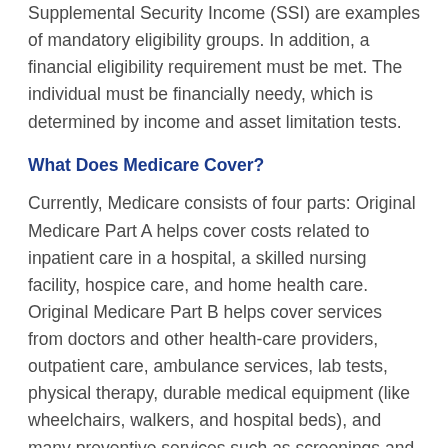Supplemental Security Income (SSI) are examples of mandatory eligibility groups. In addition, a financial eligibility requirement must be met. The individual must be financially needy, which is determined by income and asset limitation tests.
What Does Medicare Cover?
Currently, Medicare consists of four parts: Original Medicare Part A helps cover costs related to inpatient care in a hospital, a skilled nursing facility, hospice care, and home health care. Original Medicare Part B helps cover services from doctors and other health-care providers, outpatient care, ambulance services, lab tests, physical therapy, durable medical equipment (like wheelchairs, walkers, and hospital beds), and many preventive services such as screenings and vaccines. Medicare Advantage (Part C) replaces Parts A and B and enables beneficiaries to receive health care through managed care plans such as health maintenance organizations and preferred provider organizations